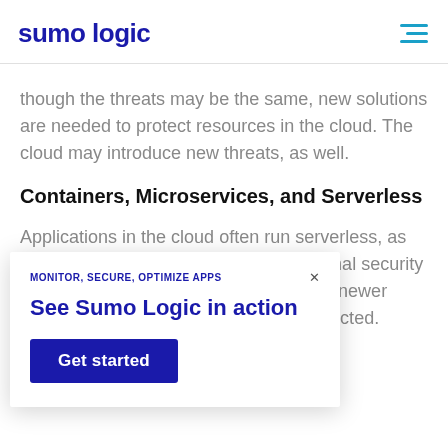sumo logic
though the threats may be the same, new solutions are needed to protect resources in the cloud. The cloud may introduce new threats, as well.
Containers, Microservices, and Serverless
Applications in the cloud often run serverless, as microservices, or in containers. Traditional security … dle these newer … go undetected.
MONITOR, SECURE, OPTIMIZE APPS
See Sumo Logic in action
Get started